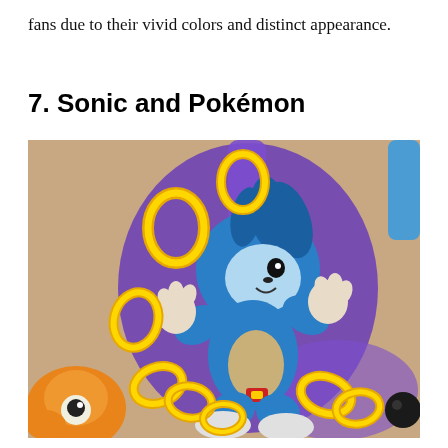fans due to their vivid colors and distinct appearance.
7. Sonic and Pokémon
[Figure (photo): A tattoo on a person's arm depicting Sonic the Hedgehog surrounded by golden rings, set against a purple background. A Pokémon plush toy is partially visible in the bottom left and right corners of the photo.]